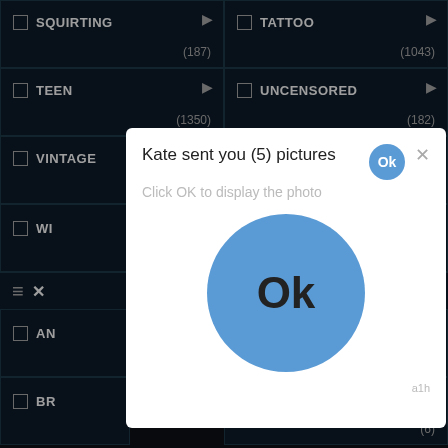| SQUIRTING (187) | TATTOO (1043) |
| TEEN (1350) | UNCENSORED (182) |
| VINTAGE (5246) | VOLUPTUOUS (386) |
[Figure (screenshot): Modal dialog overlay: 'Kate sent you (5) pictures. Click OK to display the photo' with a large blue Ok button and small Ok button in header. Background shows partially visible UI rows including WI..., AN...(1), BR...(6).]